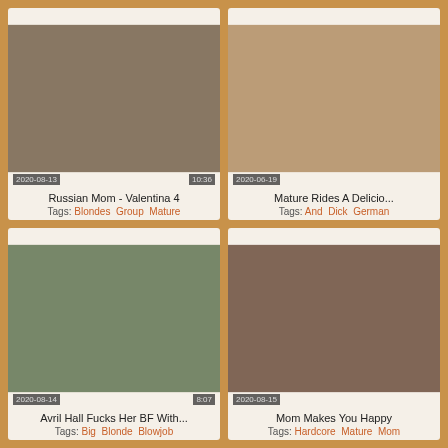[Figure (photo): Thumbnail image dated 2020-08-13, duration 10:36]
Russian Mom - Valentina 4
Tags: Blondes  Group  Mature
[Figure (photo): Thumbnail image dated 2020-06-19, duration not visible]
Mature Rides A Delicio...
Tags: And  Dick  German
[Figure (photo): Thumbnail image dated 2020-08-14, duration 8:07]
Avril Hall Fucks Her BF With...
Tags: Big  Blonde  Blowjob
[Figure (photo): Thumbnail image dated 2020-08-15, duration not visible]
Mom Makes You Happy
Tags: Hardcore  Mature  Mom